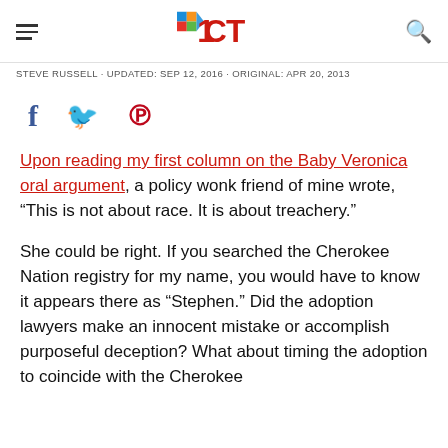ICT (logo with hamburger menu and search icon)
STEVE RUSSELL · UPDATED: SEP 12, 2016 · ORIGINAL: APR 20, 2013
[Figure (other): Social media share icons: Facebook (f), Twitter (bird), Pinterest (p)]
Upon reading my first column on the Baby Veronica oral argument, a policy wonk friend of mine wrote, “This is not about race. It is about treachery.”
She could be right. If you searched the Cherokee Nation registry for my name, you would have to know it appears there as “Stephen.” Did the adoption lawyers make an innocent mistake or accomplish purposeful deception? What about timing the adoption to coincide with the Cherokee